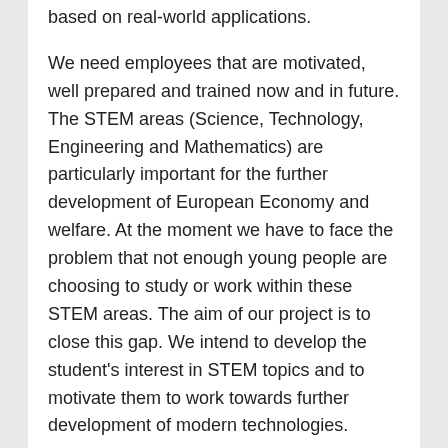based on real-world applications.
We need employees that are motivated, well prepared and trained now and in future. The STEM areas (Science, Technology, Engineering and Mathematics) are particularly important for the further development of European Economy and welfare. At the moment we have to face the problem that not enough young people are choosing to study or work within these STEM areas. The aim of our project is to close this gap. We intend to develop the student’s interest in STEM topics and to motivate them to work towards further development of modern technologies.
The main aim of this project is to make STEM education more relevant and meaningful for our students in ways that respect gender differences and cultural diversity. The other aims are:
Improving the study of scientific subjects
Fostering the basic and transversal skills, especially